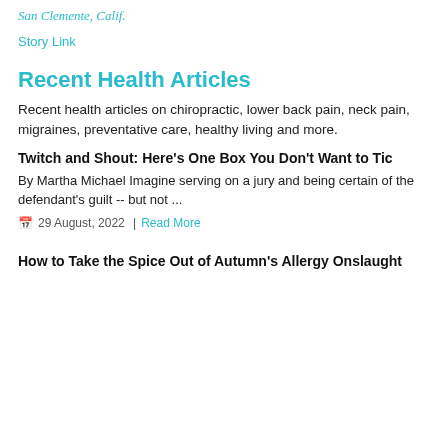San Clemente, Calif.
Story Link
Recent Health Articles
Recent health articles on chiropractic, lower back pain, neck pain, migraines, preventative care, healthy living and more.
Twitch and Shout: Here's One Box You Don't Want to Tic
By Martha Michael Imagine serving on a jury and being certain of the defendant's guilt -- but not ...
📅 29 August, 2022  |  Read More
How to Take the Spice Out of Autumn's Allergy Onslaught